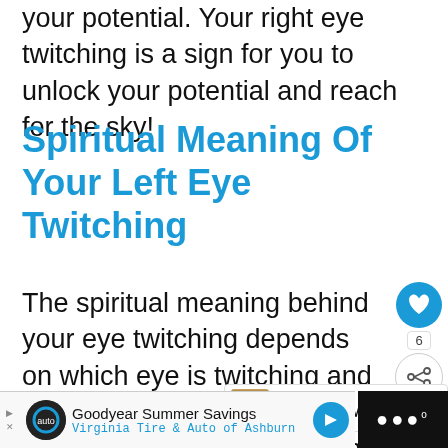your potential. Your right eye twitching is a sign for you to unlock your potential and reach for the sky!
Spiritual Meaning Of Your Left Eye Twitching
The spiritual meaning behind your eye twitching depends on which eye is twitching and your gender. In places around India and Nepal, the twitching of the left eye means bad luck for men and
[Figure (screenshot): Social media floating buttons: heart/like button (blue circle), share count '6', and share icon button]
[Figure (screenshot): What's Next panel with thumbnail image and text 'What Does It Mean When...']
[Figure (screenshot): Advertisement banner for Goodyear Summer Savings - Virginia Tire & Auto of Ashburn with logo and blue arrow]